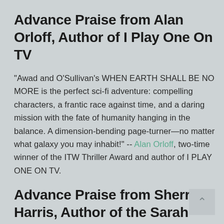Advance Praise from Alan Orloff, Author of I Play One On TV
"Awad and O'Sullivan's WHEN EARTH SHALL BE NO MORE is the perfect sci-fi adventure: compelling characters, a frantic race against time, and a daring mission with the fate of humanity hanging in the balance. A dimension-bending page-turner—no matter what galaxy you may inhabit!" -- Alan Orloff, two-time winner of the ITW Thriller Award and author of I PLAY ONE ON TV.
Advance Praise from Sherry Harris, Author of the Sarah Winston Garage Sale and Chloe